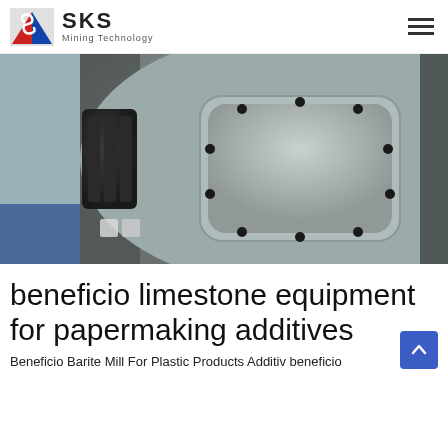SKS Mining Technology
[Figure (photo): Close-up photo of a large industrial mining/milling machine, grey colored, showing a bolted access panel on the side. Machine is in an industrial facility.]
beneficio limestone equipment for papermaking additives
Beneficio Barite Mill For Plastic Products Additiv beneficio